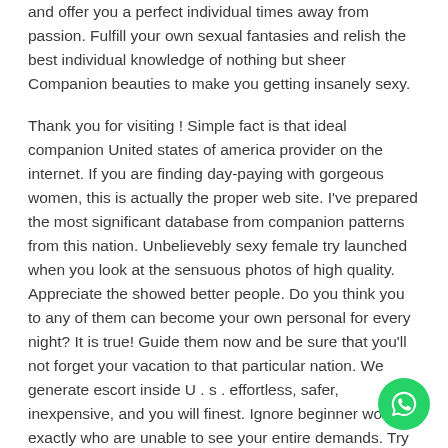and offer you a perfect individual times away from passion. Fulfill your own sexual fantasies and relish the best individual knowledge of nothing but sheer Companion beauties to make you getting insanely sexy.
Thank you for visiting ! Simple fact is that ideal companion United states of america provider on the internet. If you are finding day-paying with gorgeous women, this is actually the proper web site. I've prepared the most significant database from companion patterns from this nation. Unbelievebly sexy female try launched when you look at the sensuous photos of high quality. Appreciate the showed better people. Do you think you to any of them can become your own personal for every night? It is true! Guide them now and be sure that you'll not forget your vacation to that particular nation. We generate escort inside U . s . effortless, safer, inexpensive, and you will finest. Ignore beginner women exactly who are unable to see your entire demands. Try not to visit discover elite group hotties from inside the brothels. On line solution produces